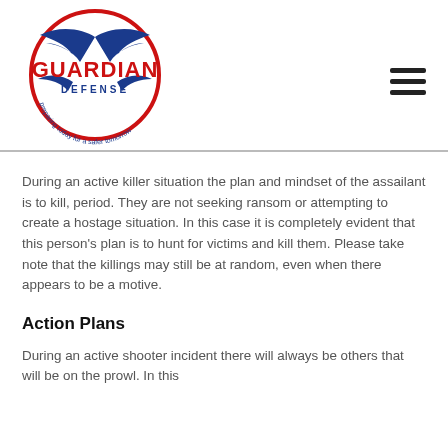[Figure (logo): Guardian Defense logo: circular red ring with blue eagle wings, text 'GUARDIAN DEFENSE' in bold red/blue, tagline 'preparing today for a safer tomorrow' around the bottom arc]
During an active killer situation the plan and mindset of the assailant is to kill, period. They are not seeking ransom or attempting to create a hostage situation. In this case it is completely evident that this person's plan is to hunt for victims and kill them. Please take note that the killings may still be at random, even when there appears to be a motive.
Action Plans
During an active shooter incident there will always be others that will be on the prowl. In this...